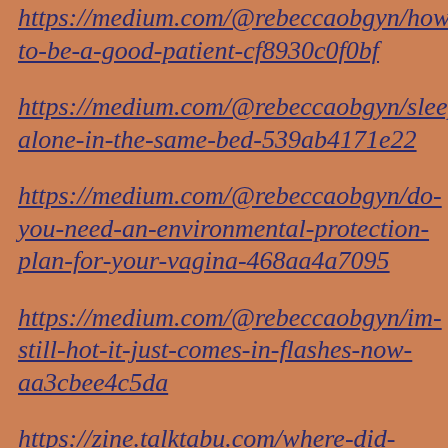https://medium.com/@rebeccaobgyn/how-to-be-a-good-patient-cf8930c0f0bf
https://medium.com/@rebeccaobgyn/sleeping-alone-in-the-same-bed-539ab4171e22
https://medium.com/@rebeccaobgyn/do-you-need-an-environmental-protection-plan-for-your-vagina-468aa4a7095
https://medium.com/@rebeccaobgyn/im-still-hot-it-just-comes-in-flashes-now-aa3cbee4c5da
https://zine.talktabu.com/where-did-my-libido-go-